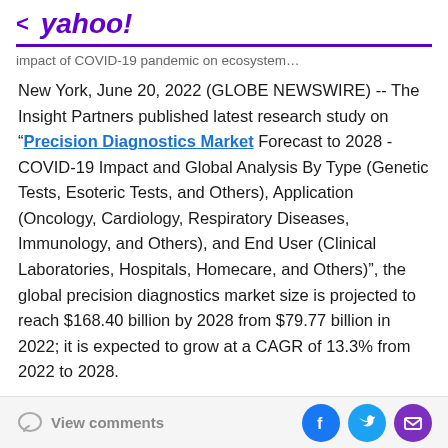< yahoo!
impact of COVID-19 pandemic on ecosystem…
New York, June 20, 2022 (GLOBE NEWSWIRE) -- The Insight Partners published latest research study on "Precision Diagnostics Market Forecast to 2028 - COVID-19 Impact and Global Analysis By Type (Genetic Tests, Esoteric Tests, and Others), Application (Oncology, Cardiology, Respiratory Diseases, Immunology, and Others), and End User (Clinical Laboratories, Hospitals, Homecare, and Others)", the global precision diagnostics market size is projected to reach $168.40 billion by 2028 from $79.77 billion in 2022; it is expected to grow at a CAGR of 13.3% from 2022 to 2028.
View comments | Facebook | Twitter | Mail